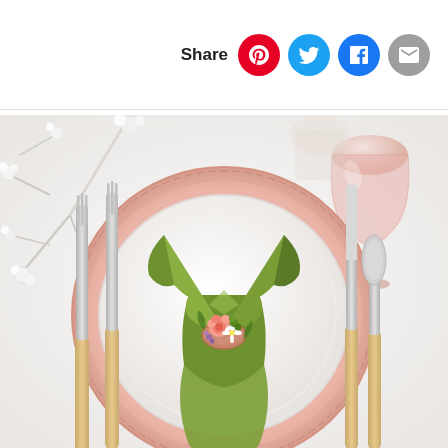Share [Pinterest] [Twitter] [Facebook] [Email]
[Figure (photo): Elegant table setting viewed from above, showing a white plate on a decorative rose gold charger plate. A green folded napkin is placed on the plate, secured with a floral napkin ring containing a pink rose, white daisies, and small purple and green berries. Gold-handled silverware (two forks on the left, knife and spoon on the right) flank the plate. A pink wine glass is visible in the upper right. White floral branches decorate the upper left. The tablecloth is white.]